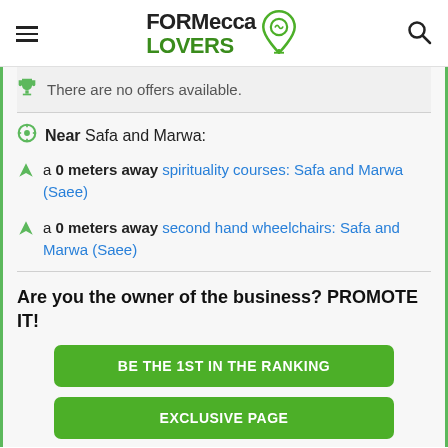FORMecca LOVERS
There are no offers available.
Near Safa and Marwa:
a 0 meters away spirituality courses: Safa and Marwa (Saee)
a 0 meters away second hand wheelchairs: Safa and Marwa (Saee)
Are you the owner of the business? PROMOTE IT!
BE THE 1ST IN THE RANKING
EXCLUSIVE PAGE